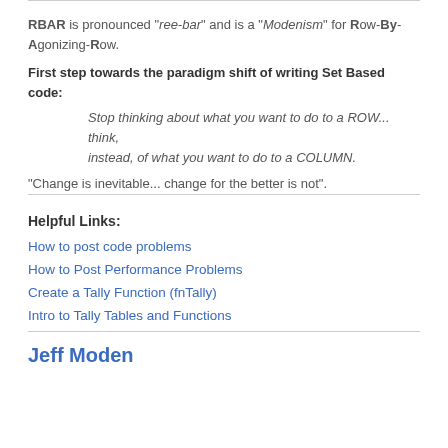RBAR is pronounced "ree-bar" and is a "Modenism" for Row-By-Agonizing-Row. First step towards the paradigm shift of writing Set Based code: Stop thinking about what you want to do to a ROW... think, instead, of what you want to do to a COLUMN. "Change is inevitable... change for the better is not".
Helpful Links:
How to post code problems
How to Post Performance Problems
Create a Tally Function (fnTally)
Intro to Tally Tables and Functions
Jeff Moden